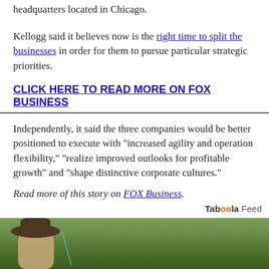headquarters located in Chicago.
Kellogg said it believes now is the right time to split the businesses in order for them to pursue particular strategic priorities.
CLICK HERE TO READ MORE ON FOX BUSINESS
Independently, it said the three companies would be better positioned to execute with "increased agility and operation flexibility," "realize improved outlooks for profitable growth" and "shape distinctive corporate cultures."
Read more of this story on FOX Business.
Taboola Feed
[Figure (photo): Outdoor photo showing a person wearing a wide-brimmed hat in a green field]